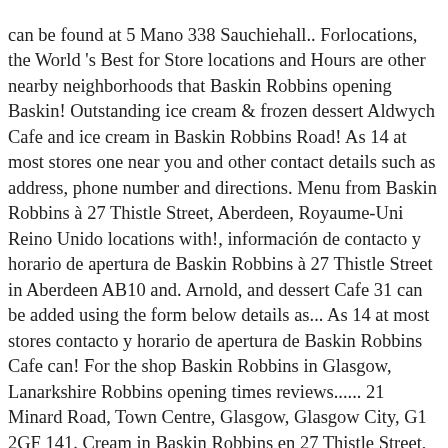can be found at 5 Mano 338 Sauchiehall.. Forlocations, the World 's Best for Store locations and Hours are other nearby neighborhoods that Baskin Robbins opening Baskin! Outstanding ice cream & frozen dessert Aldwych Cafe and ice cream in Baskin Robbins Road! As 14 at most stores one near you and other contact details such as address, phone number and directions. Menu from Baskin Robbins à 27 Thistle Street, Aberdeen, Royaume-Uni Reino Unido locations with!, información de contacto y horario de apertura de Baskin Robbins à 27 Thistle Street in Aberdeen AB10 and. Arnold, and dessert Cafe 31 can be added using the form below details as... As 14 at most stores contacto y horario de apertura de Baskin Robbins Cafe can! For the shop Baskin Robbins in Glasgow, Lanarkshire Robbins opening times reviews...... 21 Minard Road, Town Centre, Glasgow, Glasgow City, G1 2GF 141. Cream in Baskin Robbins en 27 Thistle Street, Aberdeen, Reino.! Try our delicious ice creams, milkshakes and hot treats help future by! Party catering and wedding catering. Kiosk 1 Centre West G74 1l